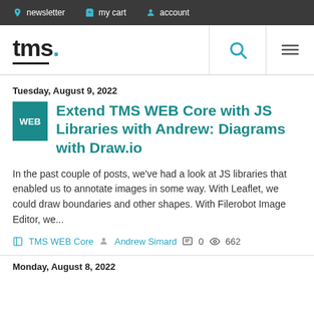newsletter  my cart  account
[Figure (logo): TMS logo with blue dot and underline]
Tuesday, August 9, 2022
Extend TMS WEB Core with JS Libraries with Andrew: Diagrams with Draw.io
In the past couple of posts, we've had a look at JS libraries that enabled us to annotate images in some way.  With Leaflet, we could draw boundaries and other shapes.  With Filerobot Image Editor, we...
TMS WEB Core  Andrew Simard  0  662
Monday, August 8, 2022